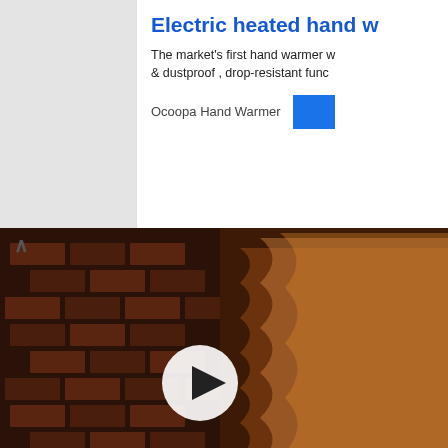[Figure (screenshot): Advertisement banner for 'Electric heated hand warmer' by Ocoopa Hand Warmer, with blue title text, description text about market's first hand warmer with dustproof and drop-resistant features, brand name and blue button]
[Figure (screenshot): Video thumbnail showing a wood veneer lamp craft video with VENKO WOOD logo, play button overlay, dark background with brick wall and glowing lamp shade, title bar reading 'Beautiful veneer lamp']
Copyright © Games Like
Contact   Privacy Policy   Sponsored Listing